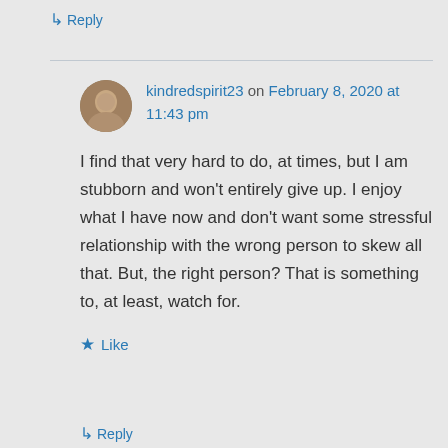↳ Reply
kindredspirit23 on February 8, 2020 at 11:43 pm
I find that very hard to do, at times, but I am stubborn and won't entirely give up. I enjoy what I have now and don't want some stressful relationship with the wrong person to skew all that. But, the right person? That is something to, at least, watch for.
★ Like
↳ Reply